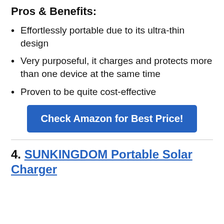Pros & Benefits:
Effortlessly portable due to its ultra-thin design
Very purposeful, it charges and protects more than one device at the same time
Proven to be quite cost-effective
Check Amazon for Best Price!
4. SUNKINGDOM Portable Solar Charger